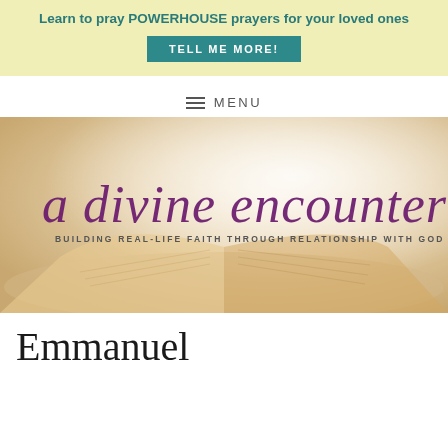Learn to pray POWERHOUSE prayers for your loved ones
TELL ME MORE!
MENU
[Figure (illustration): Hero banner image of an open Bible with soft warm bokeh background. Overlaid script text reads 'a divine encounter' in purple cursive, with subtitle 'BUILDING REAL-LIFE FAITH THROUGH RELATIONSHIP WITH GOD' in small caps.]
Emmanuel